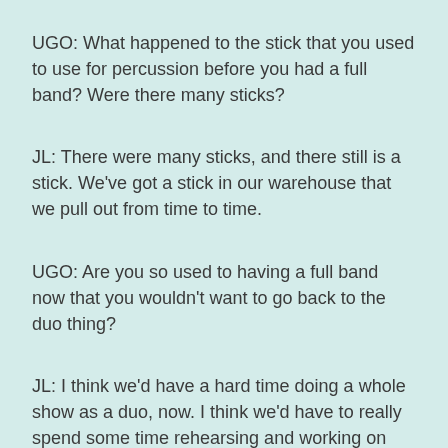UGO: What happened to the stick that you used to use for percussion before you had a full band? Were there many sticks?
JL: There were many sticks, and there still is a stick. We've got a stick in our warehouse that we pull out from time to time.
UGO: Are you so used to having a full band now that you wouldn't want to go back to the duo thing?
JL: I think we'd have a hard time doing a whole show as a duo, now. I think we'd have to really spend some time rehearsing and working on the show to get it up to where we like it, if we went back to the duo. But in the course